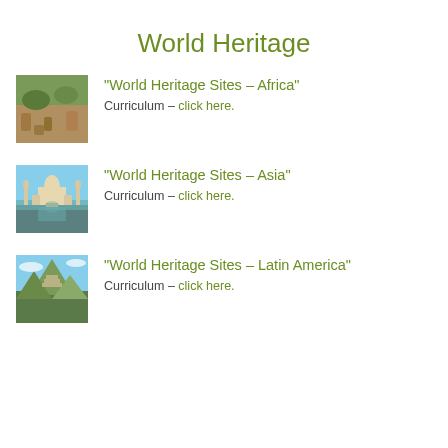World Heritage
[Figure (photo): Rocky landscape with trees – Africa world heritage site thumbnail]
“World Heritage Sites – Africa”
Curriculum – click here.
[Figure (photo): Taj Mahal reflected in water – Asia world heritage site thumbnail]
“World Heritage Sites – Asia”
Curriculum – click here.
[Figure (photo): Machu Picchu mountain ruins – Latin America world heritage site thumbnail]
“World Heritage Sites – Latin America”
Curriculum – click here.